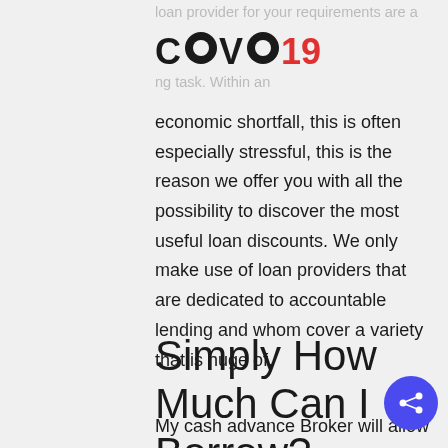loan provider for your requirements are a … ng task. Within an
[Figure (logo): COVO19 logo with stylized letters, O characters as filled circles with holes, 19 in red]
economic shortfall, this is often especially stressful, this is the reason we offer you with all the possibility to discover the most useful loan discounts. We only make use of loan providers that are dedicated to accountable lending and whom cover a variety that is huge of.
Simply How Much Can I Borrow?
My cash advance Broker will allow you to find day that is same between BJ100 and